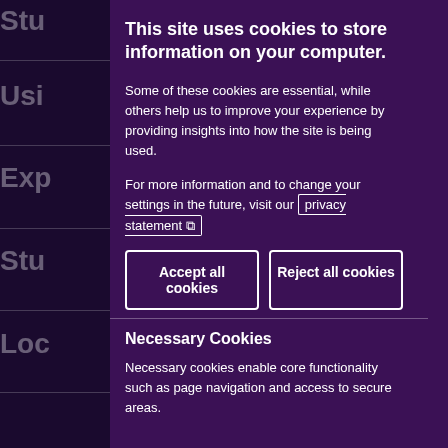This site uses cookies to store information on your computer.
Some of these cookies are essential, while others help us to improve your experience by providing insights into how the site is being used.
For more information and to change your settings in the future, visit our privacy statement [external link icon]
Accept all cookies
Reject all cookies
Necessary Cookies
Necessary cookies enable core functionality such as page navigation and access to secure areas.